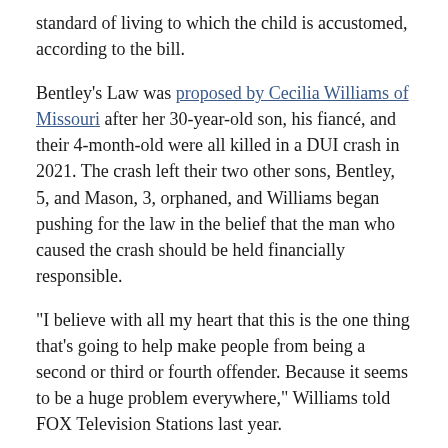standard of living to which the child is accustomed, according to the bill.
Bentley's Law was proposed by Cecilia Williams of Missouri after her 30-year-old son, his fiancé, and their 4-month-old were all killed in a DUI crash in 2021. The crash left their two other sons, Bentley, 5, and Mason, 3, orphaned, and Williams began pushing for the law in the belief that the man who caused the crash should be held financially responsible.
"I believe with all my heart that this is the one thing that's going to help make people from being a second or third or fourth offender. Because it seems to be a huge problem everywhere," Williams told FOX Television Stations last year.